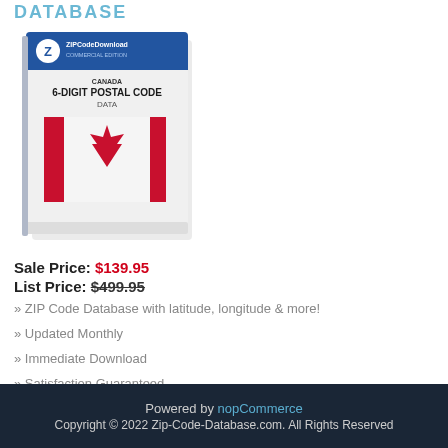DATABASE
[Figure (photo): Product box for Canada 6-Digit Postal Code Data by ZIPCodeDownload Commercial Edition, showing Canadian flag graphic on white box]
Sale Price: $139.95
List Price: $499.95
» ZIP Code Database with latitude, longitude & more!
» Updated Monthly
» Immediate Download
» Satisfaction Guaranteed
View Details
Powered by nopCommerce
Copyright © 2022 Zip-Code-Database.com. All Rights Reserved